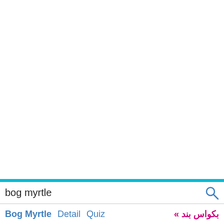[Figure (screenshot): White empty area representing a mobile app screen content region]
bog myrtle
Bog Myrtle  Detail  Quiz  » بکواس بند